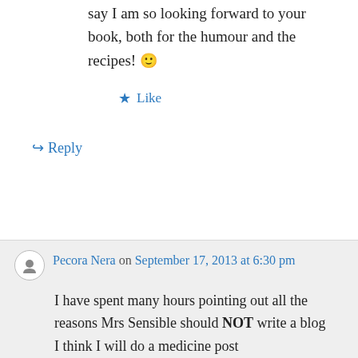say I am so looking forward to your book, both for the humour and the recipes! 🙂
★ Like
↪ Reply
Pecora Nera on September 17, 2013 at 6:30 pm
I have spent many hours pointing out all the reasons Mrs Sensible should NOT write a blog about me... Who would clean up and cook food while she was busy writing and answering questions???? Nope one blog is enough.. 🙂
I think I will do a medicine post